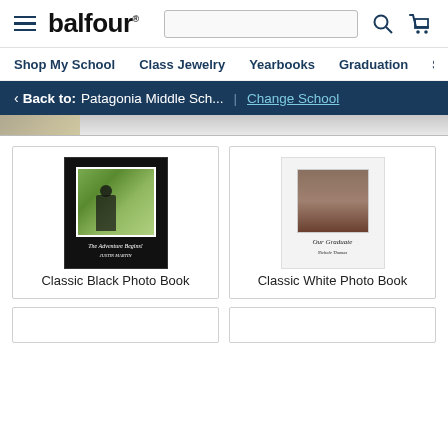balfour
Shop My School   Class Jewelry   Yearbooks   Graduation   Sc
< Back to: Patagonia Middle Sch... | Change School
[Figure (screenshot): Partially visible banner image at top of product listing]
[Figure (photo): Classic Black Photo Book product image showing graduation photo book with black cover and text 'The Adventure Begins!']
Classic Black Photo Book
[Figure (photo): Classic White Photo Book product image showing white cover with graduate portrait and text 'Our Graduate Nichole Thomas']
Classic White Photo Book
[Figure (screenshot): Two partially visible product cards at the bottom of the page]